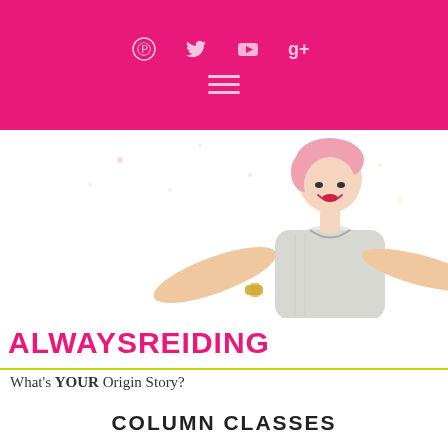Social icons (Pinterest, Twitter, YouTube, Google+) and hamburger menu on pink background
[Figure (photo): Woman with short pink hair, arms outstretched, smiling joyfully with confetti in the air, on a white background]
ALWAYSREIDING
What's YOUR Origin Story?
COLUMN CLASSES